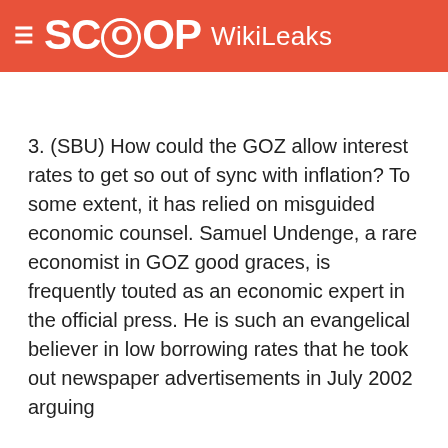SCOOP WikiLeaks
3. (SBU) How could the GOZ allow interest rates to get so out of sync with inflation? To some extent, it has relied on misguided economic counsel. Samuel Undenge, a rare economist in GOZ good graces, is frequently touted as an economic expert in the official press. He is such an evangelical believer in low borrowing rates that he took out newspaper advertisements in July 2002 arguing